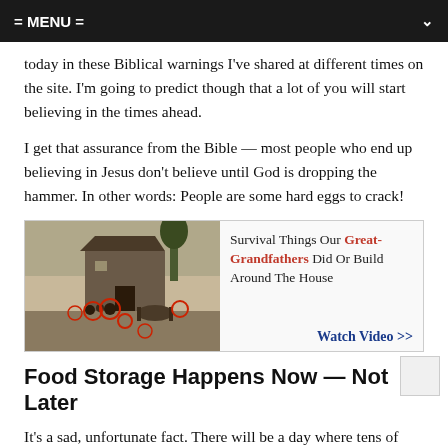= MENU =
today in these Biblical warnings I've shared at different times on the site. I'm going to predict though that a lot of you will start believing in the times ahead.
I get that assurance from the Bible — most people who end up believing in Jesus don't believe until God is dropping the hammer. In other words: People are some hard eggs to crack!
[Figure (photo): Black and white historical photo of a farmstead with people and horses, with red circles highlighting various objects. Accompanied by advertisement text: Survival Things Our Great-Grandfathers Did Or Build Around The House. Watch Video >>]
Food Storage Happens Now — Not Later
It's a sad, unfortunate fact. There will be a day where tens of millions of people realize that so many signs about a coming catastrophe were all around them, but they were just too glued to their daily routines and complacency and stubbornness about life